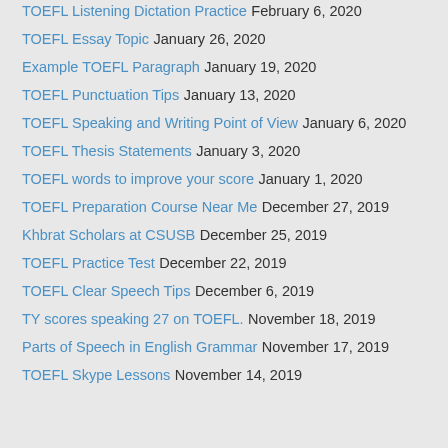TOEFL Listening Dictation Practice February 6, 2020
TOEFL Essay Topic January 26, 2020
Example TOEFL Paragraph January 19, 2020
TOEFL Punctuation Tips January 13, 2020
TOEFL Speaking and Writing Point of View January 6, 2020
TOEFL Thesis Statements January 3, 2020
TOEFL words to improve your score January 1, 2020
TOEFL Preparation Course Near Me December 27, 2019
Khbrat Scholars at CSUSB December 25, 2019
TOEFL Practice Test December 22, 2019
TOEFL Clear Speech Tips December 6, 2019
TY scores speaking 27 on TOEFL. November 18, 2019
Parts of Speech in English Grammar November 17, 2019
TOEFL Skype Lessons November 14, 2019